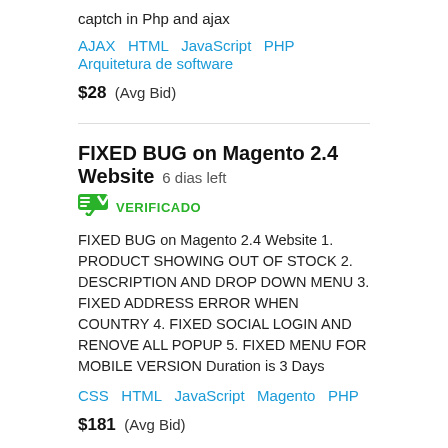captch in Php and ajax
AJAX   HTML   JavaScript   PHP   Arquitetura de software
$28  (Avg Bid)
FIXED BUG on Magento 2.4 Website  6 dias left
VERIFICADO
FIXED BUG on Magento 2.4 Website 1. PRODUCT SHOWING OUT OF STOCK 2. DESCRIPTION AND DROP DOWN MENU 3. FIXED ADDRESS ERROR WHEN COUNTRY 4. FIXED SOCIAL LOGIN AND RENOVE ALL POPUP 5. FIXED MENU FOR MOBILE VERSION Duration is 3 Days
CSS   HTML   JavaScript   Magento   PHP
$181  (Avg Bid)